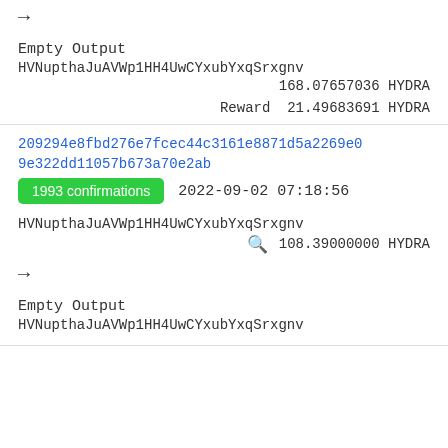→
Empty Output
HVNupthaJuAVWp1HH4UwCYxubYxqSrxgnv
168.07657036 HYDRA
Reward 21.49683691 HYDRA
209294e8fbd276e7fcec44c3161e8871d5a2269e09e322dd11057b673a70e2ab
1993 confirmations
2022-09-02 07:18:56
HVNupthaJuAVWp1HH4UwCYxubYxqSrxgnv
108.39000000 HYDRA
→
Empty Output
HVNupthaJuAVWp1HH4UwCYxubYxqSrxgnv